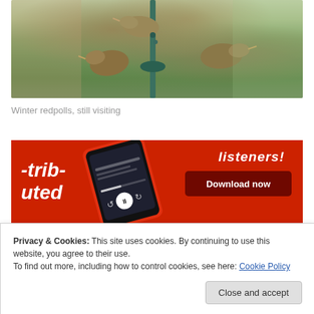[Figure (photo): Photograph of winter redpolls (small birds) perched on a bird feeder filled with seeds, with a blurred green garden background]
Winter redpolls, still visiting
[Figure (screenshot): Advertisement banner with red background showing a smartphone with a podcast/radio app open, text reading '-trib-uted' and 'listeners!' with a 'Download now' button]
Privacy & Cookies: This site uses cookies. By continuing to use this website, you agree to their use.
To find out more, including how to control cookies, see here: Cookie Policy
Close and accept